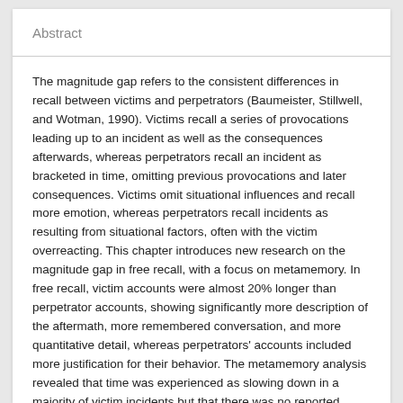Abstract
The magnitude gap refers to the consistent differences in recall between victims and perpetrators (Baumeister, Stillwell, and Wotman, 1990). Victims recall a series of provocations leading up to an incident as well as the consequences afterwards, whereas perpetrators recall an incident as bracketed in time, omitting previous provocations and later consequences. Victims omit situational influences and recall more emotion, whereas perpetrators recall incidents as resulting from situational factors, often with the victim overreacting. This chapter introduces new research on the magnitude gap in free recall, with a focus on metamemory. In free recall, victim accounts were almost 20% longer than perpetrator accounts, showing significantly more description of the aftermath, more remembered conversation, and more quantitative detail, whereas perpetrators' accounts included more justification for their behavior. The metamemory analysis revealed that time was experienced as slowing down in a majority of victim incidents but that there was no reported change in experienced time with a majority of perpetrator incidents, though nearly one-third of the perpetrator incidents